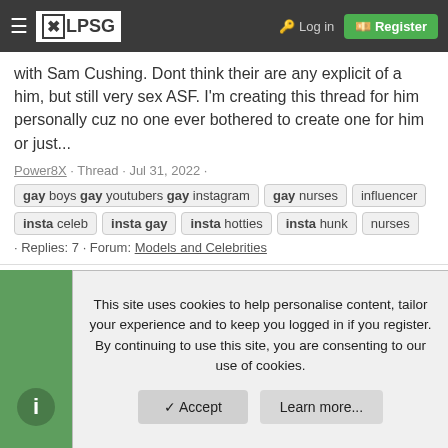≡ KLPSG  Log in  Register
with Sam Cushing. Dont think their are any explicit of a him, but still very sex ASF. I'm creating this thread for him personally cuz no one ever bothered to create one for him or just...
Power8X · Thread · Jul 31, 2022 ·
gay boys gay youtubers gay instagram  gay nurses  influencer  insta celeb  insta gay  insta hotties  insta hunk  nurses  · Replies: 7 · Forum: Models and Celebrities
Josiah Crawford
This site uses cookies to help personalise content, tailor your experience and to keep you logged in if you register. By continuing to use this site, you are consenting to our use of cookies.
✓ Accept   Learn more...